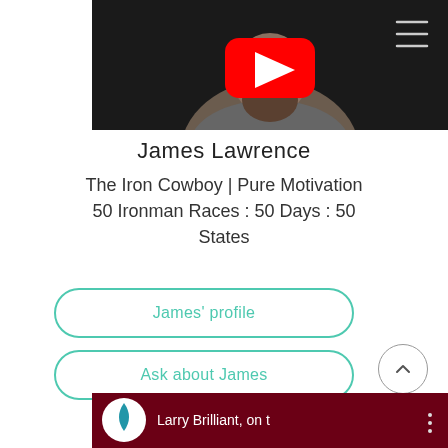[Figure (screenshot): YouTube video thumbnail showing a bearded man in a gray shirt against a dark background, with YouTube play button overlay and hamburger menu icon]
James Lawrence
The Iron Cowboy | Pure Motivation 50 Ironman Races : 50 Days : 50 States
James' profile
Ask about James
[Figure (screenshot): Partial YouTube video thumbnail at bottom showing a blue water drop logo and text 'Larry Brilliant, on t' on a dark red background]